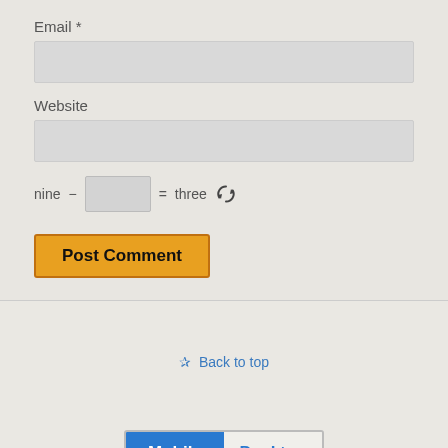Email *
[Figure (other): Email input text field (empty, gray background)]
Website
[Figure (other): Website input text field (empty, gray background)]
nine − [input box] = three [refresh icon]
[Figure (other): Post Comment button with orange/amber background]
✰ Back to top
[Figure (other): Mobile/Desktop toggle bar with Mobile selected (blue) and Desktop unselected]